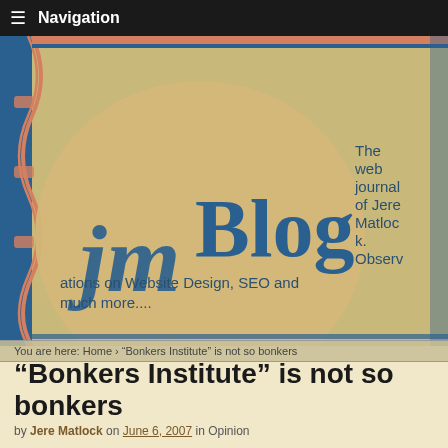Navigation
[Figure (illustration): jmBlog logo — decorative tan/gold oval with blue decorative border and the text 'jmBlog' in stylized blue font, followed by tagline: 'The web journal of Jere Matlock. Observations on Website Design, SEO and much more....']
You are here: Home › "Bonkers Institute" is not so bonkers
"Bonkers Institute" is not so bonkers
by Jere Matlock on June 6, 2007 in Opinion